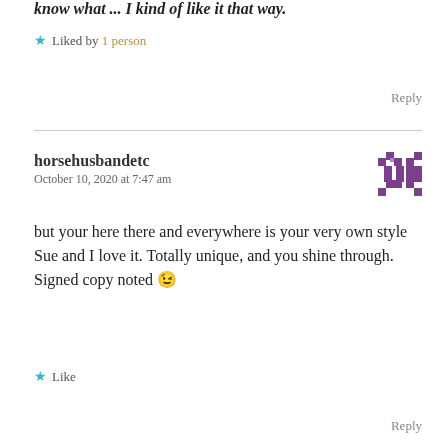know what ... I kind of like it that way.
★ Liked by 1 person
Reply
horsehusbandetc
October 10, 2020 at 7:47 am
but your here there and everywhere is your very own style Sue and I love it. Totally unique, and you shine through.
Signed copy noted 😉
★ Like
Reply